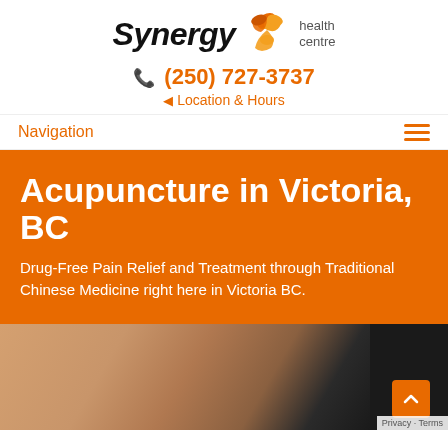[Figure (logo): Synergy Health Centre logo with orange swirl icon and 'health centre' text]
(250) 727-3737
Location & Hours
Navigation
Acupuncture in Victoria, BC
Drug-Free Pain Relief and Treatment through Traditional Chinese Medicine right here in Victoria BC.
[Figure (photo): Close-up photo of a hand performing acupuncture with needles on dark background]